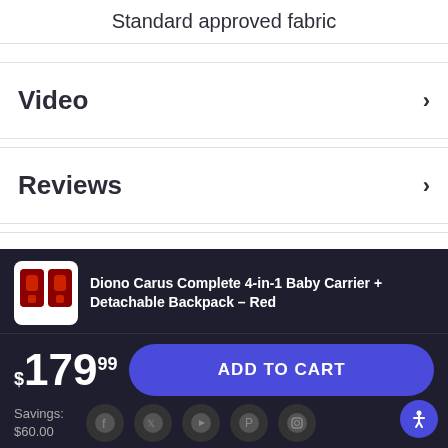Standard approved fabric
Video
Reviews
Ask & Answer
Diono Carus Complete 4-in-1 Baby Carrier + Detachable Backpack – Red
$179.99
ADD TO CART
Savings:
$60.00